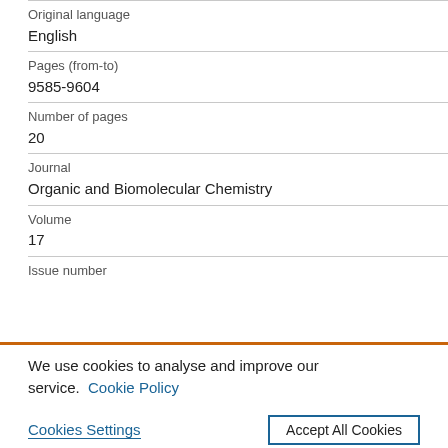| Original language | English |
| Pages (from-to) | 9585-9604 |
| Number of pages | 20 |
| Journal | Organic and Biomolecular Chemistry |
| Volume | 17 |
| Issue number |  |
We use cookies to analyse and improve our service. Cookie Policy
Cookies Settings   Accept All Cookies